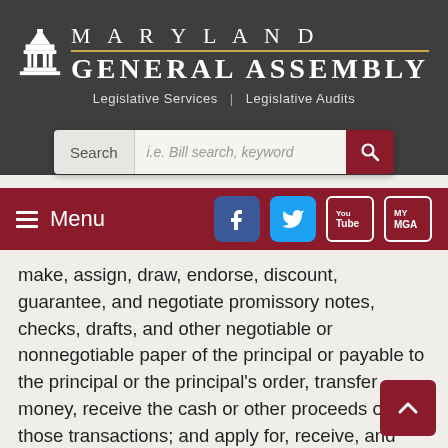MARYLAND GENERAL ASSEMBLY
Legislative Services | Legislative Audits
[Figure (screenshot): Search bar with label 'Search' and placeholder 'i.e. Bill search, keyword' with a red search button]
[Figure (screenshot): Navigation bar with hamburger Menu button and social media icons for Facebook, Twitter, YouTube, and MyMGA]
make, assign, draw, endorse, discount, guarantee, and negotiate promissory notes, checks, drafts, and other negotiable or nonnegotiable paper of the principal or payable to the principal or the principal's order, transfer money, receive the cash or other proceeds of those transactions; and apply for, receive, and use credit cards and debit cards, electronic transaction authorizations, and traveler's checks from a financial institution.